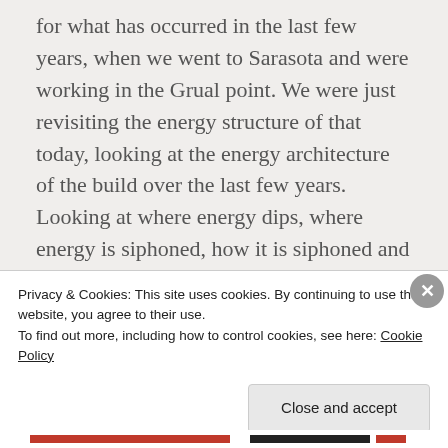for what has occurred in the last few years, when we went to Sarasota and were working in the Grual point. We were just revisiting the energy structure of that today, looking at the energy architecture of the build over the last few years. Looking at where energy dips, where energy is siphoned, how it is siphoned and by whom. When studying and observing graphs and markers of the community's movement ono an energetic scale, through what is put together as a linear time format and being able
Privacy & Cookies: This site uses cookies. By continuing to use this website, you agree to their use.
To find out more, including how to control cookies, see here: Cookie Policy